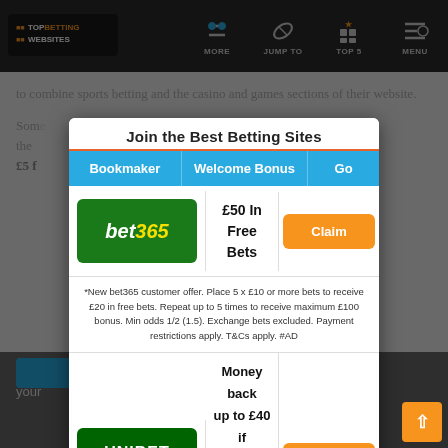TOP BETTING WEBSITES | MORE | JUMP TO | TOP 5 | MENU
to combine sports betting and the casino and games sections of their website.
Join the Best Betting Sites
| Bookmaker | Welcome Bonus | Go |
| --- | --- | --- |
| bet365 | £50 In Free Bets | Claim |
| UNIBET | Money back up to £40 if your first bet loses + £10 Casino | Claim |
*New bet365 customer offer. Place 5 x £10 or more bets to receive £20 in free bets. Repeat up to 5 times to receive maximum £100 bonus. Min odds 1/2 (1.5). Exchange bets excluded. Payment restrictions apply. T&Cs apply. #AD
We u your